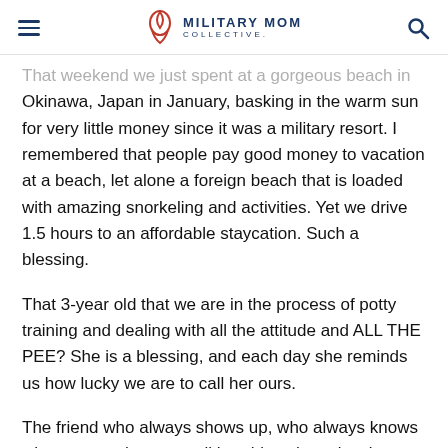MILITARY MOM COLLECTIVE.
That weekend we just spent at a gorgeous beach in Okinawa, Japan in January, basking in the warm sun for very little money since it was a military resort. I remembered that people pay good money to vacation at a beach, let alone a foreign beach that is loaded with amazing snorkeling and activities. Yet we drive 1.5 hours to an affordable staycation. Such a blessing.
That 3-year old that we are in the process of potty training and dealing with all the attitude and ALL THE PEE? She is a blessing, and each day she reminds us how lucky we are to call her ours.
The friend who always shows up, who always knows what to say when you tell her things have just been